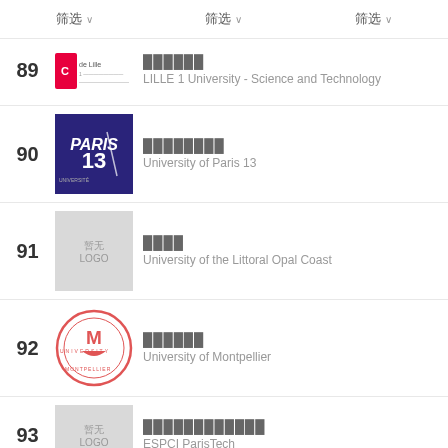筛选 ∨   筛选 ∨   筛选 ∨
89 LILLE 1 University - Science and Technology
90 University of Paris 13
91 University of the Littoral Opal Coast
92 University of Montpellier
93 ESPCI ParisTech